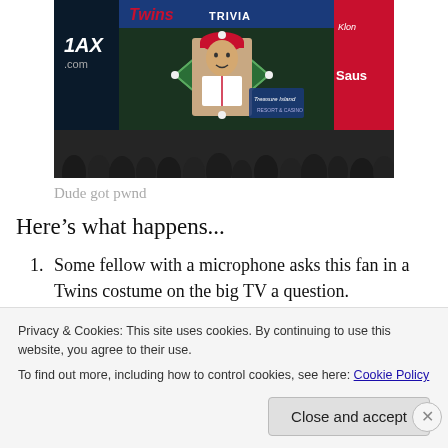[Figure (photo): A baseball scoreboard/jumbotron showing a fan in a Twins costume on the big screen, with a trivia overlay. Ads visible: MAX, .com, Klondike Saus. Crowd visible below.]
Dude got pwnd
Here's what happens...
Some fellow with a microphone asks this fan in a Twins costume on the big TV a question.
Privacy & Cookies: This site uses cookies. By continuing to use this website, you agree to their use.
To find out more, including how to control cookies, see here: Cookie Policy
Close and accept